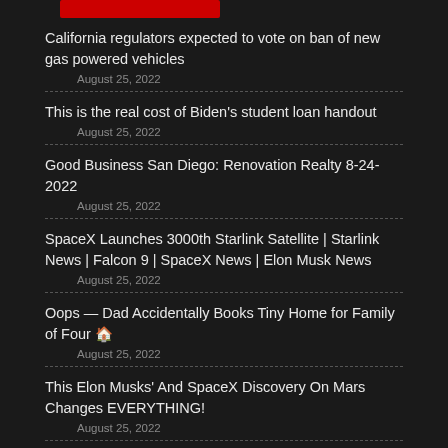[Figure (other): Red bar/banner element at top]
California regulators expected to vote on ban of new gas powered vehicles
August 25, 2022
This is the real cost of Biden's student loan handout
August 25, 2022
Good Business San Diego: Renovation Realty 8-24-2022
August 25, 2022
SpaceX Launches 3000th Starlink Satellite | Starlink News | Falcon 9 | SpaceX News | Elon Musk News
August 25, 2022
Oops — Dad Accidentally Books Tiny Home for Family of Four 🏠
August 25, 2022
This Elon Musks' And SpaceX Discovery On Mars Changes EVERYTHING!
August 25, 2022
WATCH LIVE: White House press secretary Karine Jean-